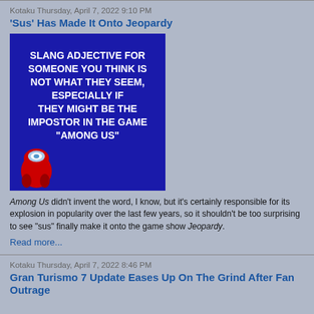Kotaku Thursday, April 7, 2022 9:10 PM
'Sus' Has Made It Onto Jeopardy
[Figure (screenshot): Jeopardy clue screen with dark blue background and white bold text: SLANG ADJECTIVE FOR SOMEONE YOU THINK IS NOT WHAT THEY SEEM, ESPECIALLY IF THEY MIGHT BE THE IMPOSTOR IN THE GAME "AMONG US". Red Among Us character visible in bottom left corner.]
Among Us didn't invent the word, I know, but it's certainly responsible for its explosion in popularity over the last few years, so it shouldn't be too surprising to see "sus" finally make it onto the game show Jeopardy.
Read more...
Kotaku Thursday, April 7, 2022 8:46 PM
Gran Turismo 7 Update Eases Up On The Grind After Fan Outrage